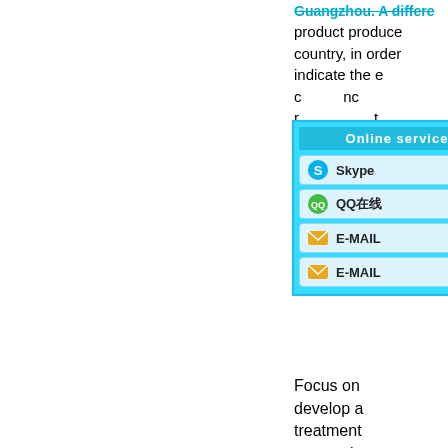Guangzhou. A different product produced in the country, in order indicate the c...nc...r...
[Figure (screenshot): Online service popup with Skype, QQ在线, E-MAIL, E-MAIL buttons on cyan background]
Focus on develop a treatment processing
[Figure (photo): Photo of a concrete water treatment structure with flowing water]